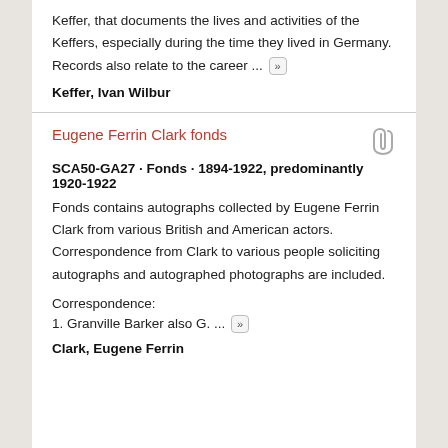Keffer, that documents the lives and activities of the Keffers, especially during the time they lived in Germany. Records also relate to the career … »
Keffer, Ivan Wilbur
Eugene Ferrin Clark fonds
SCA50-GA27 · Fonds · 1894-1922, predominantly 1920-1922
Fonds contains autographs collected by Eugene Ferrin Clark from various British and American actors. Correspondence from Clark to various people soliciting autographs and autographed photographs are included.
Correspondence:
1. Granville Barker also G. … »
Clark, Eugene Ferrin